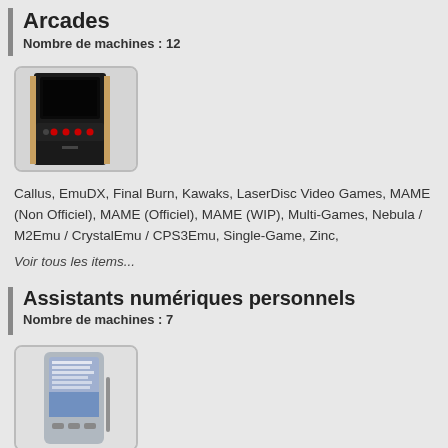Arcades
Nombre de machines : 12
[Figure (photo): Arcade cabinet machine, dark black unit with monitor on top and control panel with buttons]
Callus, EmuDX, Final Burn, Kawaks, LaserDisc Video Games, MAME (Non Officiel), MAME (Officiel), MAME (WIP), Multi-Games, Nebula / M2Emu / CrystalEmu / CPS3Emu, Single-Game, Zinc,
Voir tous les items...
Assistants numériques personnels
Nombre de machines : 7
[Figure (photo): Personal digital assistant (PDA) device with touchscreen showing a list application]